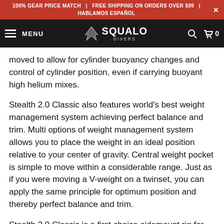100% GEAR PRICE MATCH  |  FREE SHIPPING ON ORDERS OVER $99  |  HABLAMOS ESPAÑOL
MENU  SQUALO DIVERS
moved to allow for cylinder buoyancy changes and control of cylinder position, even if carrying buoyant high helium mixes.
Stealth 2.0 Classic also features world's best weight management system achieving perfect balance and trim. Multi options of weight management system allows you to place the weight in an ideal position relative to your center of gravity. Central weight pocket is simple to move within a considerable range. Just as if you were moving a V-weight on a twinset, you can apply the same principle for optimum position and thereby perfect balance and trim.
Stealth 2.0 Classic is a first choice sidemount rig for years.